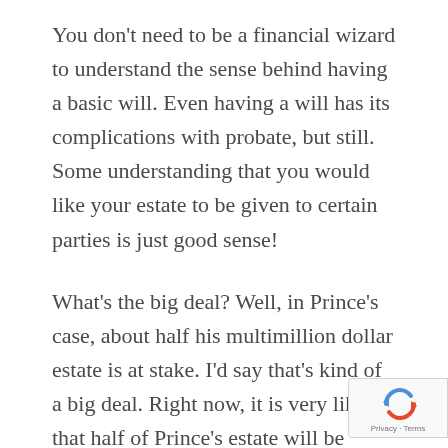You don't need to be a financial wizard to understand the sense behind having a basic will. Even having a will has its complications with probate, but still. Some understanding that you would like your estate to be given to certain parties is just good sense!
What's the big deal? Well, in Prince's case, about half his multimillion dollar estate is at stake. I'd say that's kind of a big deal. Right now, it is very likely that half of Prince's estate will be going to the government. That the state becomes some de facto beneficiary in anyone's death is a little sick to begin with, but I have to assume that someone on Prince's financial...